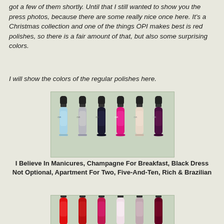got a few of them shortly. Until that I still wanted to show you the press photos, because there are some really nice once here. It's a Christmas collection and one of the things OPI makes best is red polishes, so there is a fair amount of that, but also some surprising colors.
I will show the colors of the regular polishes here.
[Figure (photo): Six OPI nail polish bottles in a row on green background: light blue, silver/grey, dark navy, hot pink/magenta, pale nude/cream, dark purple/plum]
I Believe In Manicures, Champagne For Breakfast, Black Dress Not Optional, Apartment For Two, Five-And-Ten, Rich & Brazilian
[Figure (photo): Six OPI nail polish bottles in a row on green background: bright red, dark red, raspberry/pink-red, pale pink/white, mauve/taupe, dark burgundy/wine]